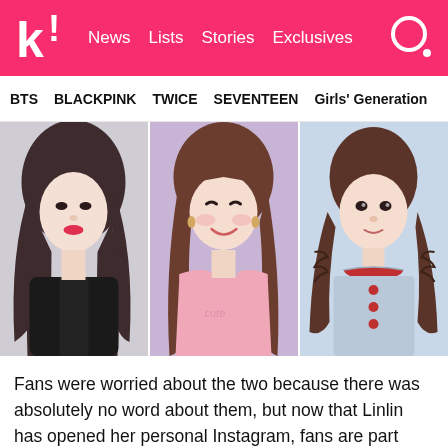k! News Lists Stories Exclusives
BTS  BLACKPINK  TWICE  SEVENTEEN  Girls' Generation
[Figure (photo): Three K-pop female artists side by side: left figure in black jacket with long wavy hair, center figure in pink top with long hair smiling, right figure in light blue retro-style crop top with braided pigtails]
Fans were worried about the two because there was absolutely no word about them, but now that Linlin has opened her personal Instagram, fans are part relieved and part worried because while its an update, it can also mean that she's